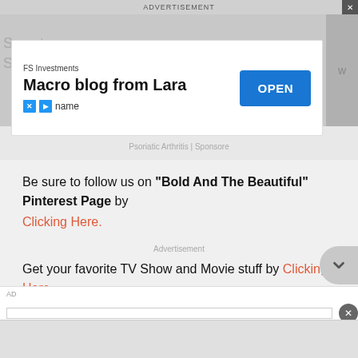ADVERTISEMENT
[Figure (screenshot): FS Investments ad: 'Macro blog from Lara' with OPEN button]
Psoriatic Arthritis | Sponsore
Be sure to follow us on "Bold And The Beautiful" Pinterest Page by Clicking Here.
Advertisement
Get your favorite TV Show and Movie stuff by Clicking Here.
Advertisement
AD